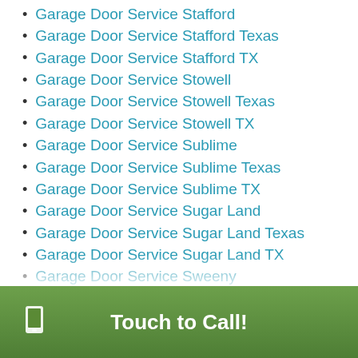Garage Door Service Stafford
Garage Door Service Stafford Texas
Garage Door Service Stafford TX
Garage Door Service Stowell
Garage Door Service Stowell Texas
Garage Door Service Stowell TX
Garage Door Service Sublime
Garage Door Service Sublime Texas
Garage Door Service Sublime TX
Garage Door Service Sugar Land
Garage Door Service Sugar Land Texas
Garage Door Service Sugar Land TX
Garage Door Service Sweeny
Garage Door Service Sweeny Texas
Garage Door Service Sweeny TX
Garage Door Service Telferner
Garage Door Service Telferner Texas
Garage Door Service Telferner TX
Touch to Call!